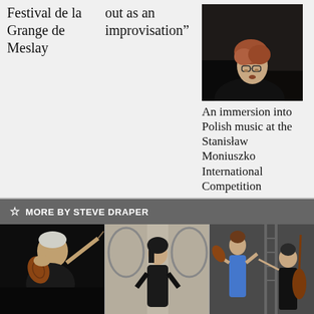Festival de la Grange de Meslay
out as an improvisation”
[Figure (photo): Young man with glasses and reddish hair playing piano, looking upward, dark background]
An immersion into Polish music at the Stanisław Moniuszko International Competition
MORE BY STEVE DRAPER
[Figure (photo): Elderly violinist playing violin, dark background]
[Figure (photo): Young woman in black dress standing outdoors near arched architecture]
[Figure (photo): Group of musicians, woman in blue dress with violin and man with cello, metal structure background]